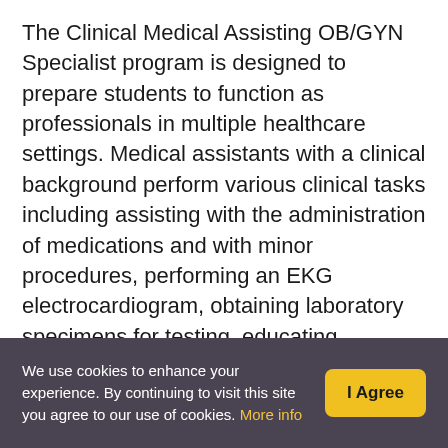The Clinical Medical Assisting OB/GYN Specialist program is designed to prepare students to function as professionals in multiple healthcare settings. Medical assistants with a clinical background perform various clinical tasks including assisting with the administration of medications and with minor procedures, performing an EKG electrocardiogram, obtaining laboratory specimens for testing, educating patients, and other related tasks. Clinical Medical Assistants trained in OB/GYN practice are highly desired due to their working with women in the various stages of
We use cookies to enhance your experience. By continuing to visit this site you agree to our use of cookies. More info